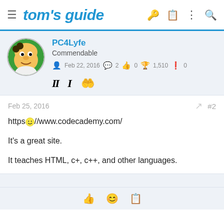tom's guide
PC4Lyfe
Commendable
Feb 22, 2016  2  0  1,510  0
Feb 25, 2016  #2
https://www.codecademy.com/
It's a great site.
It teaches HTML, c+, c++, and other languages.